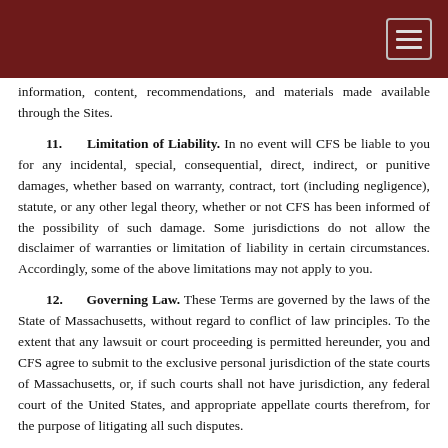information, content, recommendations, and materials made available through the Sites.
11.   Limitation of Liability. In no event will CFS be liable to you for any incidental, special, consequential, direct, indirect, or punitive damages, whether based on warranty, contract, tort (including negligence), statute, or any other legal theory, whether or not CFS has been informed of the possibility of such damage. Some jurisdictions do not allow the disclaimer of warranties or limitation of liability in certain circumstances. Accordingly, some of the above limitations may not apply to you.
12.   Governing Law. These Terms are governed by the laws of the State of Massachusetts, without regard to conflict of law principles. To the extent that any lawsuit or court proceeding is permitted hereunder, you and CFS agree to submit to the exclusive personal jurisdiction of the state courts of Massachusetts, or, if such courts shall not have jurisdiction, any federal court of the United States, and appropriate appellate courts therefrom, for the purpose of litigating all such disputes.
13.   Modification of the Sites. CFS reserves the right to